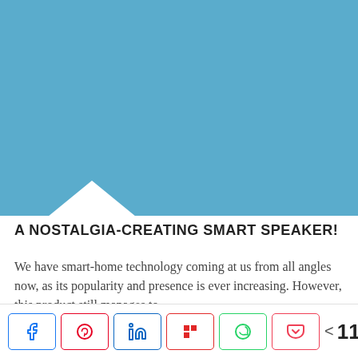[Figure (photo): Blue/teal colored image area with a white downward-pointing triangle cutout at the bottom left]
A NOSTALGIA-CREATING SMART SPEAKER!
We have smart-home technology coming at us from all angles now, as its popularity and presence is ever increasing. However, this product still manages to...
[Figure (infographic): Social share bar with buttons for Facebook, Pinterest, LinkedIn, Flipboard, WhatsApp, Pocket, and a share count showing 11 SHARES]